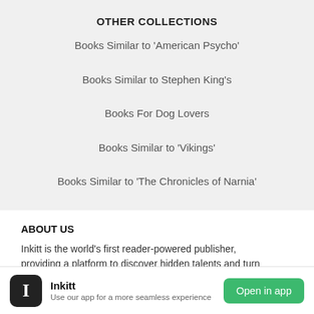OTHER COLLECTIONS
Books Similar to 'American Psycho'
Books Similar to Stephen King's
Books For Dog Lovers
Books Similar to 'Vikings'
Books Similar to 'The Chronicles of Narnia'
ABOUT US
Inkitt is the world's first reader-powered publisher, providing a platform to discover hidden talents and turn
Inkitt — Use our app for a more seamless experience — Open in app